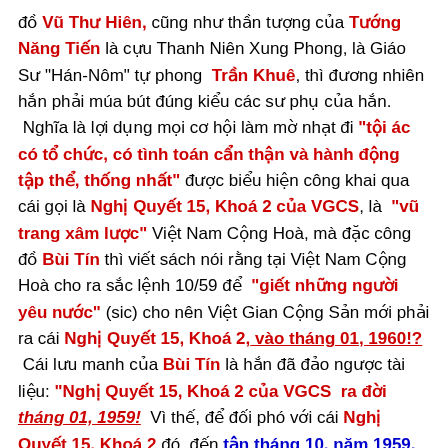đồ Vũ Thư Hiên, cũng như thần tượng của Tướng Năng Tiến là cựu Thanh Niên Xung Phong, là Giáo Sư "Hán-Nôm" tự phong Trần Khuê, thì đương nhiên hắn phải múa bút đúng kiểu các sư phụ của hắn. Nghĩa là lợi dụng mọi cơ hội làm mờ nhạt đi "tội ác có tổ chức, có tình toán cẩn thận và hành động tập thể, thống nhất" được biểu hiện công khai qua cái gọi là Nghị Quyết 15, Khoá 2 của VGCS, là "vũ trang xâm lược" Việt Nam Cộng Hoà, mà đặc công đồ Bùi Tín thì viết sách nói rằng tại Việt Nam Cộng Hoà cho ra sắc lệnh 10/59 để "giết những người yêu nước" (sic) cho nên Việt Gian Cộng Sản mới phải ra cái Nghị Quyết 15, Khoá 2, vào tháng 01, 1960!? Cái lưu manh của Bùi Tín là hắn đã đảo ngược tài liệu: "Nghị Quyết 15, Khoá 2 của VGCS ra đời tháng 01, 1959! Vì thế, để đối phó với cái Nghị Quyết 15, Khoá 2 đó, đến tận tháng 10, năm 1959, Việt Nam Cộng Hoà mới có Sắc